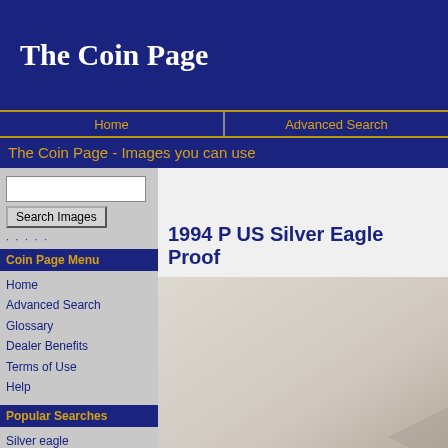The Coin Page
Home | Advanced Search
The Coin Page - Images you can use
Search Images
Coin Page Menu
Home
Advanced Search
Glossary
Dealer Benefits
Terms of Use
Help
Popular Searches
Silver eagle
Morgan Dollar
Lincoln Cent
Buffalo Nickel
Mercury Dime
State Quarter
Commemorative Half
Gold Eagle
Roosevelt Dime
1994 P US Silver Eagle Proof
[Figure (photo): Coin image area for 1994 P US Silver Eagle Proof]